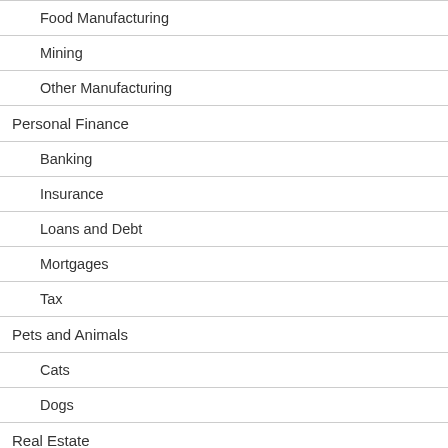Food Manufacturing
Mining
Other Manufacturing
Personal Finance
Banking
Insurance
Loans and Debt
Mortgages
Tax
Pets and Animals
Cats
Dogs
Real Estate